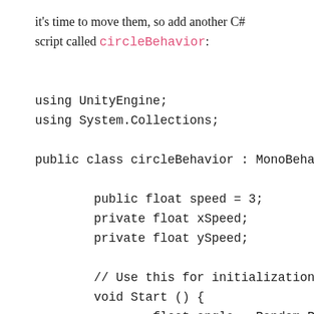it's time to move them, so add another C# script called circleBehavior:
using UnityEngine;
using System.Collections;

public class circleBehavior : MonoBeha

        public float speed = 3;
        private float xSpeed;
        private float ySpeed;

        // Use this for initialization
        void Start () {
                float angle = Random.R
                xSpeed = speed * Mathf
                ySpeed = speed * Mathf
        }